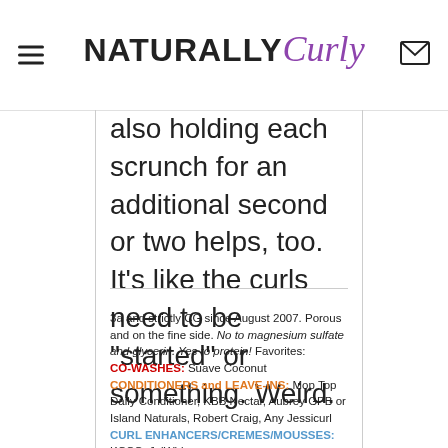NATURALLY Curly
also holding each scrunch for an additional second or two helps, too. It's like the curls need to be "started" or something. Weird.
3a and strictly CG since August 2007. Porous and on the fine side. No to magnesium sulfate and glycerin. Yes to protein! Favorites:
CO-WASHES: Suave Coconut
CONDITIONERS and LEAVE-INS: Mop Top Daily Conditioner, KBB Nectar, Aubrey GPB or Island Naturals, Robert Craig, Any Jessicurl
CURL ENHANCERS/CREMES/MOUSSES: KCCC, JoiWhip
GELS: Fuzzy Duck, B5 Design, MGA Scultping, BRHG
Fotki password: chuckle
Blog: http://jillipoo.blogspot.com/